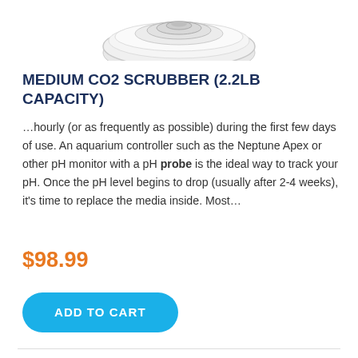[Figure (photo): Partial view of a circular white product (CO2 scrubber lid) cropped at the top of the page]
MEDIUM CO2 SCRUBBER (2.2LB CAPACITY)
…hourly (or as frequently as possible) during the first few days of use. An aquarium controller such as the Neptune Apex or other pH monitor with a pH probe is the ideal way to track your pH. Once the pH level begins to drop (usually after 2-4 weeks), it's time to replace the media inside. Most…
$98.99
ADD TO CART
[Figure (photo): Partial view of a white aquarium CO2 scrubber device at the bottom of the page, partially cropped]
[Figure (other): Dark navy blue chat/support button with speech bubble icon on the right side]